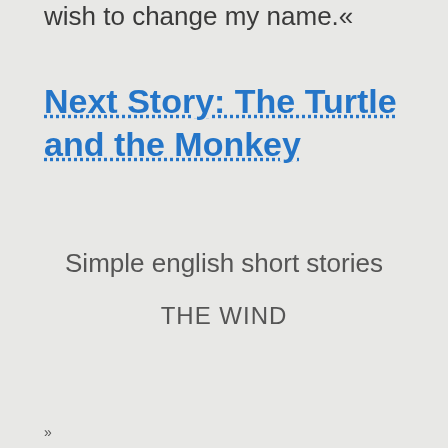wish to change my name.«
Next Story: The Turtle and the Monkey
Simple english short stories
THE WIND
»